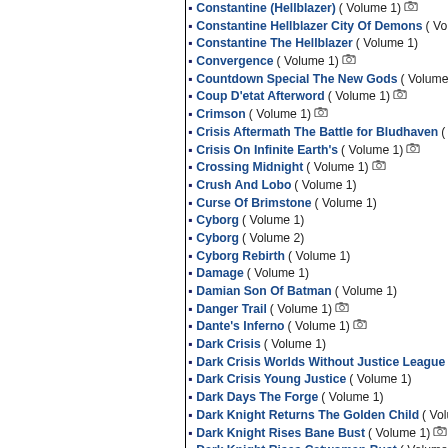Constantine (Hellblazer) ( Volume 1) [camera]
Constantine Hellblazer City Of Demons ( Volu...
Constantine The Hellblazer ( Volume 1)
Convergence ( Volume 1) [camera]
Countdown Special The New Gods ( Volume...
Coup D'etat Afterword ( Volume 1) [camera]
Crimson ( Volume 1) [camera]
Crisis Aftermath The Battle for Bludhaven ( V...
Crisis On Infinite Earth's ( Volume 1) [camera]
Crossing Midnight ( Volume 1) [camera]
Crush And Lobo ( Volume 1)
Curse Of Brimstone ( Volume 1)
Cyborg ( Volume 1)
Cyborg ( Volume 2)
Cyborg Rebirth ( Volume 1)
Damage ( Volume 1)
Damian Son Of Batman ( Volume 1)
Danger Trail ( Volume 1) [camera]
Dante's Inferno ( Volume 1) [camera]
Dark Crisis ( Volume 1)
Dark Crisis Worlds Without Justice League ( V...
Dark Crisis Young Justice ( Volume 1)
Dark Days The Forge ( Volume 1)
Dark Knight Returns The Golden Child ( Volu...
Dark Knight Rises Bane Bust ( Volume 1) [camera]
Dark Knight Rises Catwoman Bust ( Volume ...
Dark Knights Death Metal Trinity Crisis ( Volu...
Dark Knights Of Steel ( Volume 1)